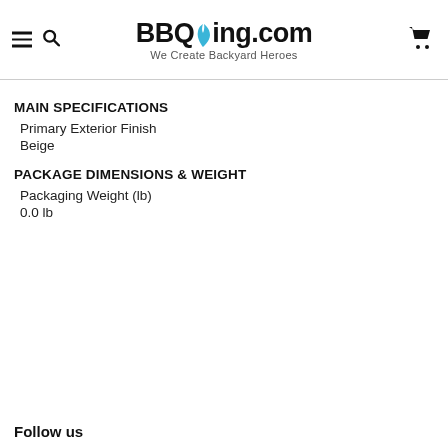BBQing.com — We Create Backyard Heroes
MAIN SPECIFICATIONS
Primary Exterior Finish
Beige
PACKAGE DIMENSIONS & WEIGHT
Packaging Weight (lb)
0.0 lb
Follow us